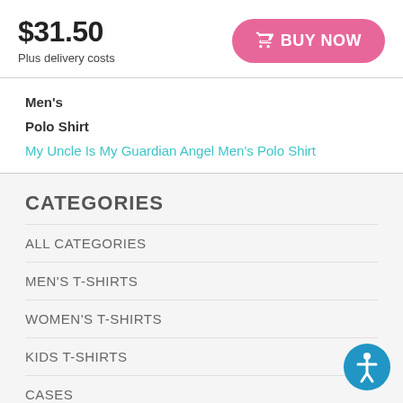$31.50
Plus delivery costs
BUY NOW
Men's
Polo Shirt
My Uncle Is My Guardian Angel Men's Polo Shirt
CATEGORIES
ALL CATEGORIES
MEN'S T-SHIRTS
WOMEN'S T-SHIRTS
KIDS T-SHIRTS
CASES